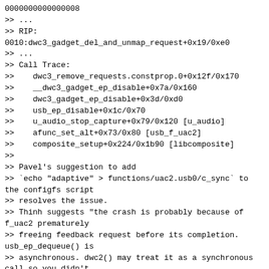0000000000000008
>> ...
>> RIP:
0010:dwc3_gadget_del_and_unmap_request+0x19/0xe0
>> ...
>> Call Trace:
>>    dwc3_remove_requests.constprop.0+0x12f/0x170
>>    __dwc3_gadget_ep_disable+0x7a/0x160
>>    dwc3_gadget_ep_disable+0x3d/0xd0
>>    usb_ep_disable+0x1c/0x70
>>    u_audio_stop_capture+0x79/0x120 [u_audio]
>>    afunc_set_alt+0x73/0x80 [usb_f_uac2]
>>    composite_setup+0x224/0x1b90 [libcomposite]
>>
>> Pavel's suggestion to add
>> `echo "adaptive" > functions/uac2.usb0/c_sync` to the configfs script
>> resolves the issue.
>> Thinh suggests "the crash is probably because of f_uac2 prematurely
>> freeing feedback request before its completion. usb_ep_dequeue() is
>> asynchronous. dwc2() may treat it as a synchronous call so you didn't
>> get a crash."
>>
>> Revert as this is a regression and the kernel shouldn't crash depending
>> on configuration parameters.
>>